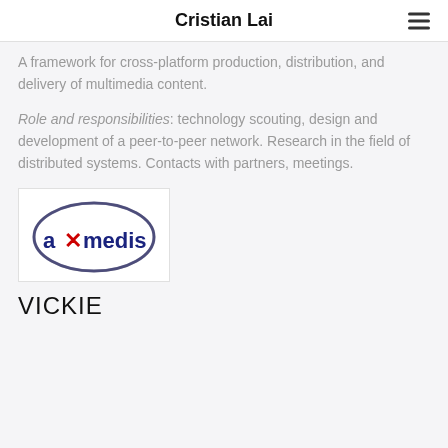Cristian Lai
A framework for cross-platform production, distribution, and delivery of multimedia content.
Role and responsibilities: technology scouting, design and development of a peer-to-peer network. Research in the field of distributed systems. Contacts with partners, meetings.
[Figure (logo): AXMEDIS logo — oval shaped logo with the text 'axmedis' in blue/navy with a red X character for the letter X, inside a dark blue/grey oval ellipse outline.]
VICKIE